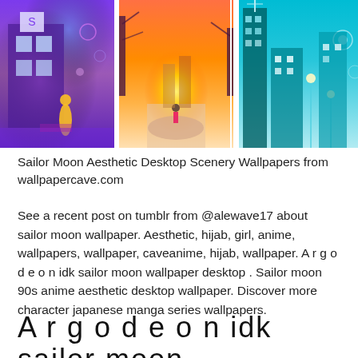[Figure (photo): Three-panel anime-style scenery wallpapers side by side: left panel shows a purple/violet urban street scene with a building and a figure, middle panel shows an orange sunset street scene with a small figure, right panel shows a teal/aqua city scene with tall buildings.]
Sailor Moon Aesthetic Desktop Scenery Wallpapers from wallpapercave.com
See a recent post on tumblr from @alewave17 about sailor moon wallpaper. Aesthetic, hijab, girl, anime, wallpapers, wallpaper, caveanime, hijab, wallpaper. A r g o d e o n idk sailor moon wallpaper desktop . Sailor moon 90s anime aesthetic desktop wallpaper. Discover more character japanese manga series wallpapers.
A r g o d e o n idk sailor moon